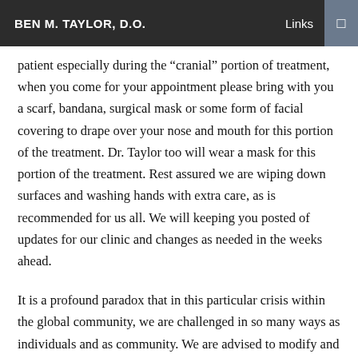BEN M. TAYLOR, D.O.
patient especially during the “cranial” portion of treatment, when you come for your appointment please bring with you a scarf, bandana, surgical mask or some form of facial covering to drape over your nose and mouth for this portion of the treatment. Dr. Taylor too will wear a mask for this portion of the treatment. Rest assured we are wiping down surfaces and washing hands with extra care, as is recommended for us all. We will keeping you posted of updates for our clinic and changes as needed in the weeks ahead.
It is a profound paradox that in this particular crisis within the global community, we are challenged in so many ways as individuals and as community. We are advised to modify and limit our interactions that require physical proximity in